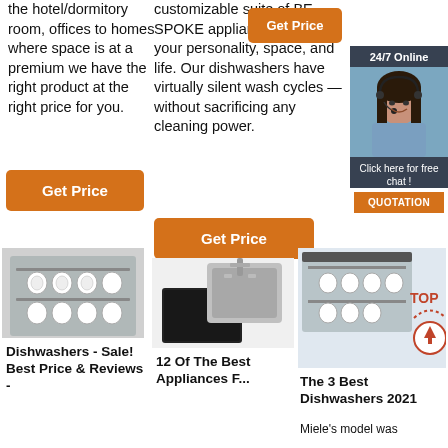the hotel/dormitory room, offices to homes where space is at a premium we have the right product at the right price for you.
[Figure (other): Orange 'Get Price' button (left column)]
customizable suite of BE SPOKE appliances that fit your personality, space, and life. Our dishwashers have virtually silent wash cycles — without sacrificing any cleaning power.
[Figure (other): Orange 'Get Price' button (middle column)]
[Figure (other): Orange 'Get Price' button (top right)]
[Figure (other): Sidebar with 24/7 Online label, woman with headset photo, 'Click here for free chat!' text, and QUOTATION button]
[Figure (photo): Photo of open dishwasher with dishes loaded]
Dishwashers - Sale! Best Price & Reviews -
[Figure (photo): Photo of stainless sink and cooktop appliance]
12 Of The Best Appliances F...
[Figure (photo): Photo of open dishwasher and a TOP badge icon]
The 3 Best Dishwashers 2021
Miele's model was